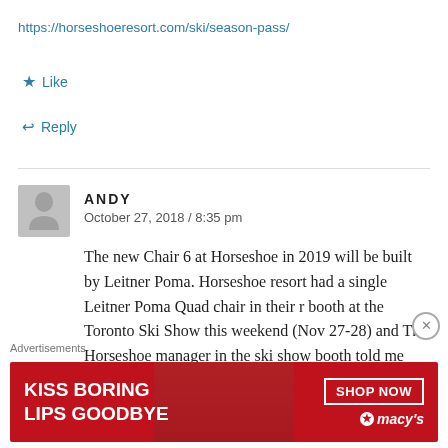https://horseshoeresort.com/ski/season-pass/
★ Like
↩ Reply
ANDY
October 27, 2018 / 8:35 pm
The new Chair 6 at Horseshoe in 2019 will be built by Leitner Poma. Horseshoe resort had a single Leitner Poma Quad chair in their r booth at the Toronto Ski Show this weekend (Nov 27-28) and The Horseshoe manager in the ski show booth told me that the contract has already been signed with Leitner Poma
Advertisements
[Figure (illustration): Macy's advertisement banner: red background with 'KISS BORING LIPS GOODBYE' text on left, model photo in center, 'SHOP NOW' button and Macy's star logo on right]